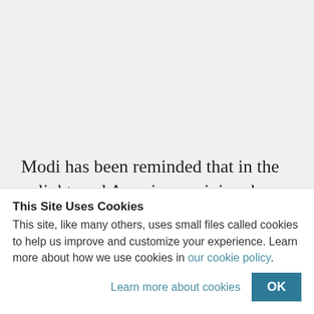Modi has been reminded that in the enlightened American opinion, he still carries the Albatross of the anti-Muslim
This Site Uses Cookies
This site, like many others, uses small files called cookies to help us improve and customize your experience. Learn more about how we use cookies in our cookie policy.
Learn more about cookies    OK